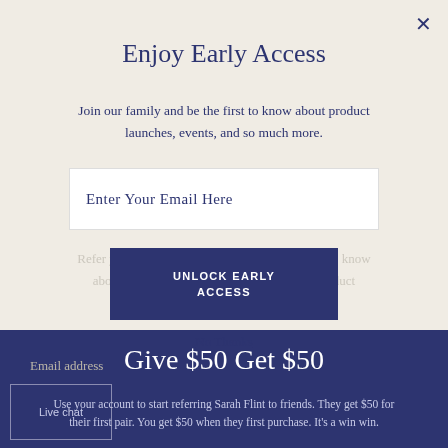Enjoy Early Access
Join our family and be the first to know about product launches, events, and so much more.
Enter Your Email Here
UNLOCK EARLY ACCESS
No Thanks
Give $50 Get $50
Use your account to start referring Sarah Flint to friends. They get $50 for their first pair. You get $50 when they first purchase. It's a win win.
Live chat